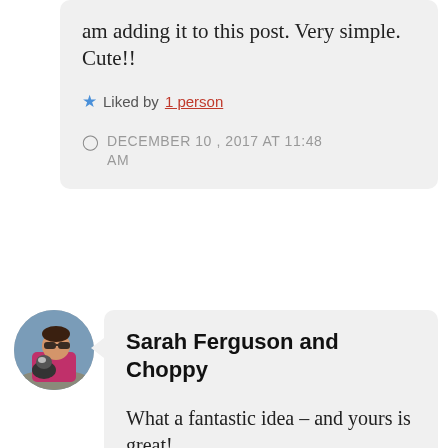am adding it to this post. Very simple. Cute!!
Liked by 1 person
DECEMBER 10, 2017 AT 11:48 AM
[Figure (photo): Circular avatar photo of a woman with sunglasses holding a dog, outdoors]
Sarah Ferguson and Choppy
What a fantastic idea – and yours is great!